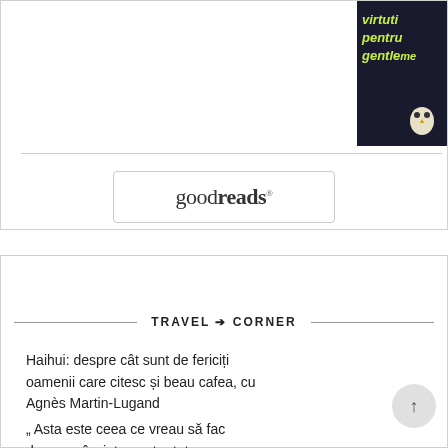[Figure (photo): Book cover with dark background showing text 'virtuti pentru gentlemen' in green and yellow stylized lettering with an owl illustration]
[Figure (logo): Goodreads logo inside a rounded rectangle border]
TRAVEL → CORNER
Haihui: despre cât sunt de fericiți oamenii care citesc și beau cafea, cu Agnès Martin-Lugand
„ Asta este ceea ce vreau să fac de acum înainte pentru tot